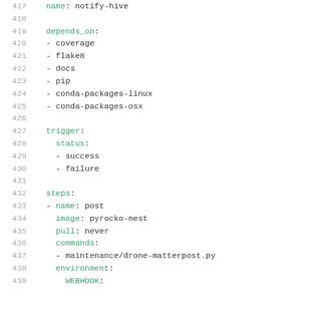[Figure (screenshot): Code listing showing YAML configuration file lines 417-439, with line numbers on the left in grey and YAML keywords highlighted in green, including name, depends_on, trigger, steps, image, pull, commands, environment, and WEBHOOK fields.]